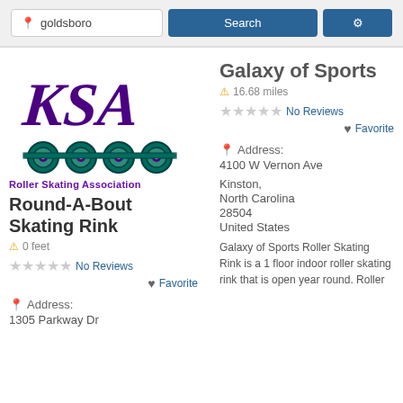[Figure (screenshot): Search bar with location input 'goldsboro', a blue Search button, and a blue gear/settings button]
[Figure (logo): KSA Roller Skating Association logo with roller skate wheels]
Round-A-Bout Skating Rink
0 feet
No Reviews
Favorite
Address:
1305 Parkway Dr
Galaxy of Sports
16.68 miles
No Reviews
Favorite
Address:
4100 W Vernon Ave
Kinston,
North Carolina
28504
United States
Galaxy of Sports Roller Skating Rink is a 1 floor indoor roller skating rink that is open year round. Roller